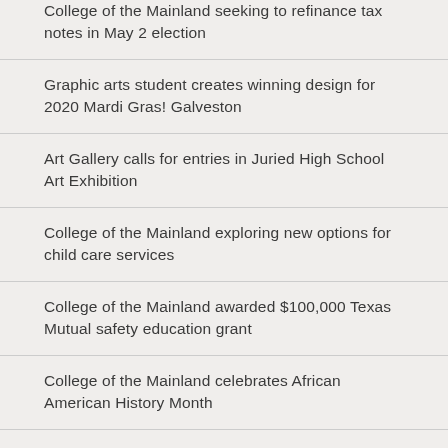College of the Mainland seeking to refinance tax notes in May 2 election
Graphic arts student creates winning design for 2020 Mardi Gras! Galveston
Art Gallery calls for entries in Juried High School Art Exhibition
College of the Mainland exploring new options for child care services
College of the Mainland awarded $100,000 Texas Mutual safety education grant
College of the Mainland celebrates African American History Month
Center for Risk Management to hold Trench Safety and